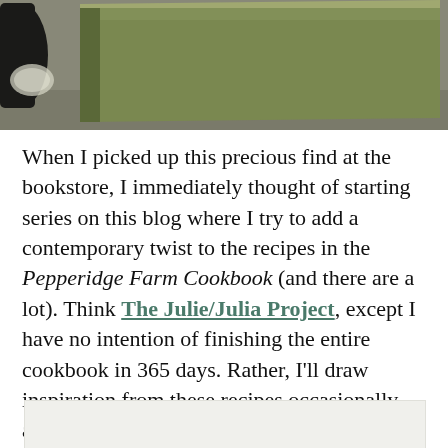[Figure (photo): Partial photo of an olive/green hardcover cookbook on a surface, with a dark object visible on the left edge.]
When I picked up this precious find at the bookstore, I immediately thought of starting series on this blog where I try to add a contemporary twist to the recipes in the Pepperidge Farm Cookbook (and there are a lot). Think The Julie/Julia Project, except I have no intention of finishing the entire cookbook in 365 days. Rather, I'll draw inspiration from these recipes occasionally and let this blog series grow organically.
[Figure (photo): Partial bottom image, appears to be another photo, largely white/light colored, cropped at page bottom.]